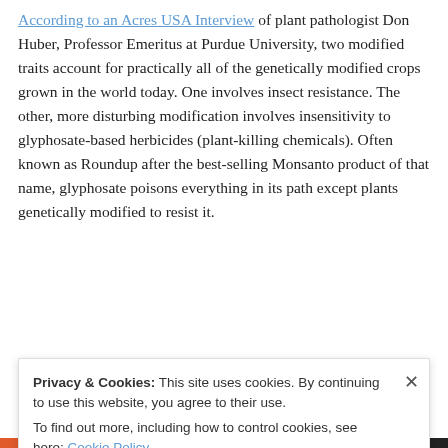According to an Acres USA Interview of plant pathologist Don Huber, Professor Emeritus at Purdue University, two modified traits account for practically all of the genetically modified crops grown in the world today. One involves insect resistance. The other, more disturbing modification involves insensitivity to glyphosate-based herbicides (plant-killing chemicals). Often known as Roundup after the best-selling Monsanto product of that name, glyphosate poisons everything in its path except plants genetically modified to resist it.
Glyphosate-based herbicides are now the most commonly...
Privacy & Cookies: This site uses cookies. By continuing to use this website, you agree to their use. To find out more, including how to control cookies, see here: Cookie Policy